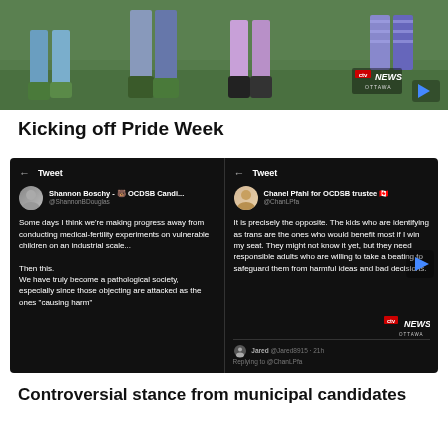[Figure (photo): Outdoor scene showing people's legs standing on grass, with a CTV News Ottawa logo overlay in the bottom right corner]
Kicking off Pride Week
[Figure (screenshot): Two Twitter/tweet screenshots side by side on a black background. Left tweet by Shannon Boschy (@ShannonBDouglas), OCDSB Candidate, reads: 'Some days I think we're making progress away from conducting medical-fertility experiments on vulnerable children on an industrial scale... Then this. We have truly become a pathological society, especially since those objecting are attacked as the ones "causing harm"'. Right tweet by Chanel Pfahl for OCDSB trustee (@ChanLPfa) reads: 'It is precisely the opposite. The kids who are identifying as trans are the ones who would benefit most if I win my seat. They might not know it yet, but they need responsible adults who are willing to take a beating to safeguard them from harmful ideas and bad decisions.' Below is a reply from Jared @Jared8915 · 21h: Replying to @ChanLPfa]
Controversial stance from municipal candidates